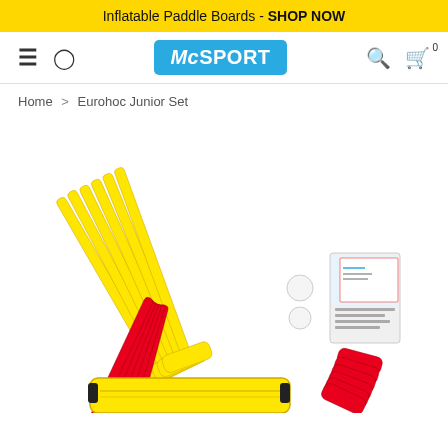Inflatable Paddle Boards - SHOP NOW
[Figure (screenshot): McSport website navigation bar with hamburger menu, user icon, McSPORT logo in blue, search icon, and cart icon with 0 items]
Home > Eurohoc Junior Set
[Figure (photo): Eurohoc Junior Set product photo showing yellow and red floor hockey sticks, two balls, and a yellow carrying bag]